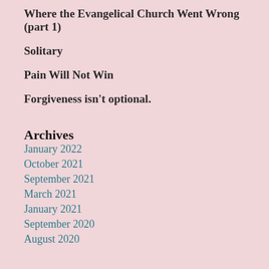Where the Evangelical Church Went Wrong (part 1)
Solitary
Pain Will Not Win
Forgiveness isn't optional.
Archives
January 2022
October 2021
September 2021
March 2021
January 2021
September 2020
August 2020